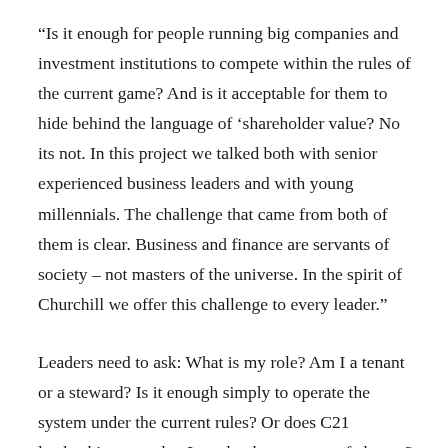“Is it enough for people running big companies and investment institutions to compete within the rules of the current game? And is it acceptable for them to hide behind the language of ‘shareholder value? No its not. In this project we talked both with senior experienced business leaders and with young millennials. The challenge that came from both of them is clear. Business and finance are servants of society – not masters of the universe. In the spirit of Churchill we offer this challenge to every leader.”
Leaders need to ask: What is my role? Am I a tenant or a steward? Is it enough simply to operate the system under the current rules? Or does C21 leadership mean that I need to be an agent of change? And as an investor, how can I better align finance to the future needs of my clients and the society